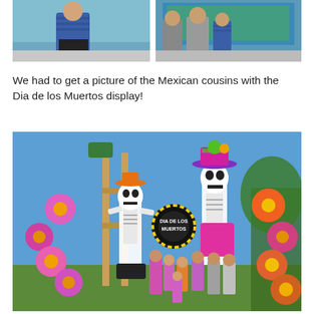[Figure (photo): Two photos side by side: left shows a child in a blue striped shirt looking at an aquarium tank; right shows three children standing in front of a large aquarium display.]
We had to get a picture of the Mexican cousins with the Dia de los Muertos display!
[Figure (photo): Outdoor photo of several children posing in front of a large Dia de los Muertos skeleton display with colorful flowers and decorated skeleton figures wearing hats, against a blue sky.]